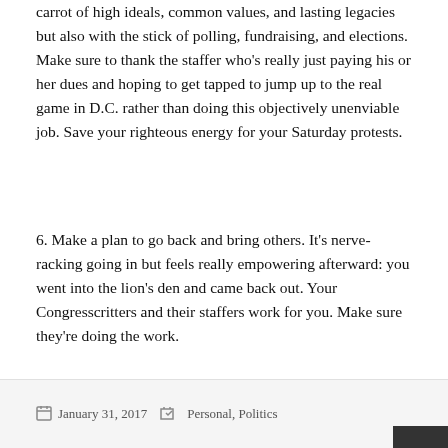carrot of high ideals, common values, and lasting legacies but also with the stick of polling, fundraising, and elections. Make sure to thank the staffer who's really just paying his or her dues and hoping to get tapped to jump up to the real game in D.C. rather than doing this objectively unenviable job. Save your righteous energy for your Saturday protests.
6. Make a plan to go back and bring others. It's nerve-racking going in but feels really empowering afterward: you went into the lion's den and came back out. Your Congresscritters and their staffers work for you. Make sure they're doing the work.
January 31, 2017   Personal, Politics